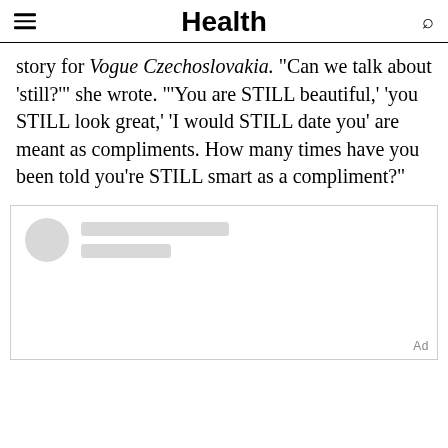Health
story for Vogue Czechoslovakia. "Can we talk about 'still?'" she wrote. "'You are STILL beautiful,' 'you STILL look great,' 'I would STILL date you' are meant as compliments. How many times have you been told you're STILL smart as a compliment?"
[Figure (other): Advertisement placeholder box with skeleton loading UI showing a circle and two gray bars, with 'Ad' label in bottom right corner]